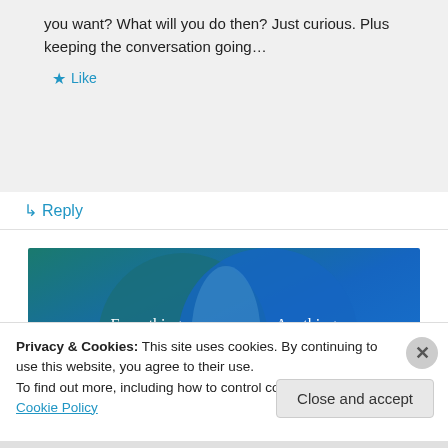you want? What will you do then? Just curious. Plus keeping the conversation going…
★ Like
↳ Reply
[Figure (illustration): Venn diagram with two overlapping circles on blue/teal background. Left circle labeled 'Everything you need', right circle labeled 'Anything you want']
Privacy & Cookies: This site uses cookies. By continuing to use this website, you agree to their use.
To find out more, including how to control cookies, see here: Cookie Policy
Close and accept